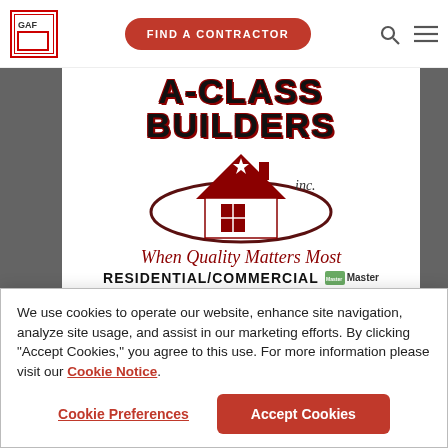[Figure (logo): GAF logo top left, small square with red border]
[Figure (other): Red pill-shaped button with text FIND A CONTRACTOR in navigation bar]
[Figure (logo): A-Class Builders Inc. company logo with house icon and tagline 'When Quality Matters Most' and 'RESIDENTIAL/COMMERCIAL', with Master Elite badge]
We use cookies to operate our website, enhance site navigation, analyze site usage, and assist in our marketing efforts. By clicking "Accept Cookies," you agree to this use. For more information please visit our Cookie Notice.
Cookie Preferences
Accept Cookies